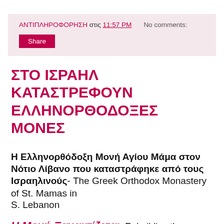ΑΝΤΙΠΛΗΡΟΦΟΡΗΣΗ στις 11:57 PM   No comments:
Share
ΣΤΟ ΙΣΡΑΗΛ ΚΑΤΑΣΤΡΕΦΟΥΝ ΕΛΛΗΝΟΡΘΟΔΟΞΕΣ ΜΟΝΕΣ
Η Ελληνορθόδοξη Μονή Αγίου Μάμα στον Νότιο Λίβανο που καταστράφηκε από τους Ισραηλινούς- The Greek Orthodox Monastery of St. Mamas in S. Lebanon
Η Μονή Ξανακτίζεται- Rebuilding the monastery